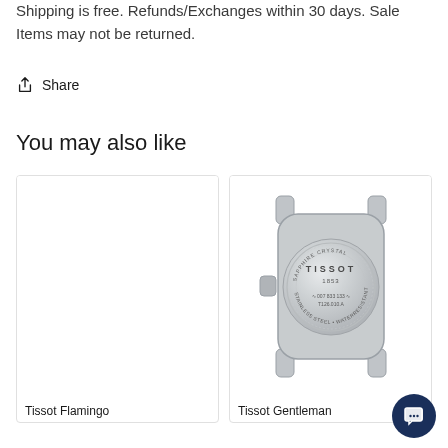Shipping is free. Refunds/Exchanges within 30 days. Sale Items may not be returned.
Share
You may also like
[Figure (photo): Empty white product card for Tissot Flamingo watch]
Tissot Flamingo
[Figure (photo): Photo of back of Tissot Gentleman watch showing stainless steel case back with TISSOT branding and engravings]
Tissot Gentleman